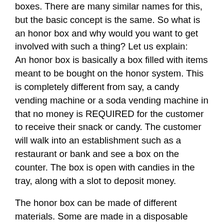boxes. There are many similar names for this, but the basic concept is the same. So what is an honor box and why would you want to get involved with such a thing? Let us explain:
An honor box is basically a box filled with items meant to be bought on the honor system. This is completely different from say, a candy vending machine or a soda vending machine in that no money is REQUIRED for the customer to receive their snack or candy. The customer will walk into an establishment such as a restaurant or bank and see a box on the counter. The box is open with candies in the tray, along with a slot to deposit money.
The honor box can be made of different materials. Some are made in a disposable manner consisting of cardboard while others of a more durable sort will be common Plexiglas. There are various designs and layouts, big and